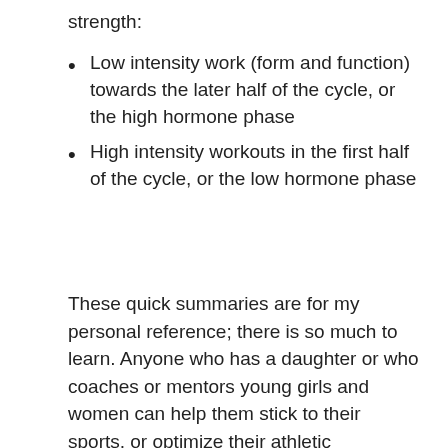strength:
Low intensity work (form and function) towards the later half of the cycle, or the high hormone phase
High intensity workouts in the first half of the cycle, or the low hormone phase
These quick summaries are for my personal reference; there is so much to learn. Anyone who has a daughter or who coaches or mentors young girls and women can help them stick to their sports, or optimize their athletic potential(!), by just knowing and working with this menstrual cycle. It’s a game changer that helps girls stay active (rather than letting them quit because of a lack of